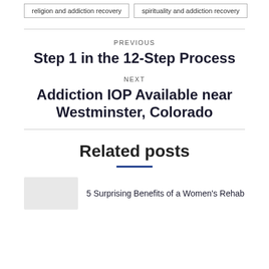religion and addiction recovery
spirituality and addiction recovery
PREVIOUS
Step 1 in the 12-Step Process
NEXT
Addiction IOP Available near Westminster, Colorado
Related posts
5 Surprising Benefits of a Women's Rehab